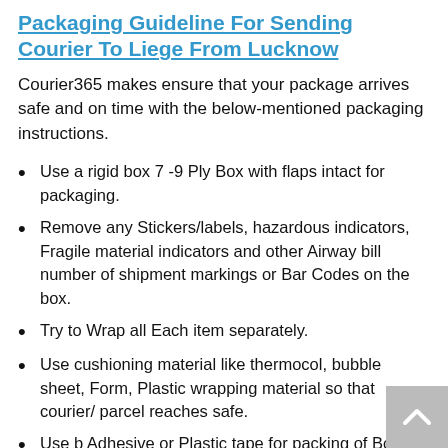Packaging Guideline For Sending Courier To Liege From Lucknow
Courier365 makes ensure that your package arrives safe and on time with the below-mentioned packaging instructions.
Use a rigid box 7 -9 Ply Box with flaps intact for packaging.
Remove any Stickers/labels, hazardous indicators, Fragile material indicators and other Airway bill number of shipment markings or Bar Codes on the box.
Try to Wrap all Each item separately.
Use cushioning material like thermocol, bubble sheet, Form, Plastic wrapping material so that courier/ parcel reaches safe.
Use b Adhesive or Plastic tape for packing of Boxes.
Do not use string, Bubble sheet, Stitched cloth